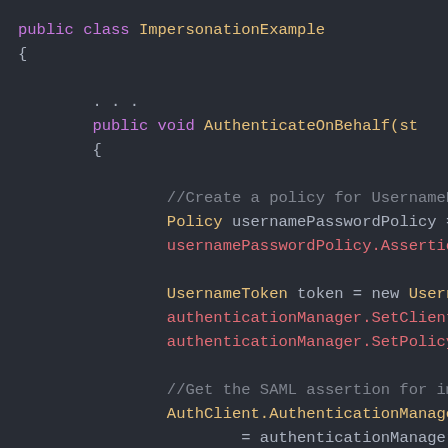[Figure (screenshot): Code editor screenshot showing C# class ImpersonationExample with method AuthenticateOnBehalf. Dark background with syntax highlighting. Shows code for creating username/password policy, UsernameToken, authenticationManager calls, and getting SAML assertion.]